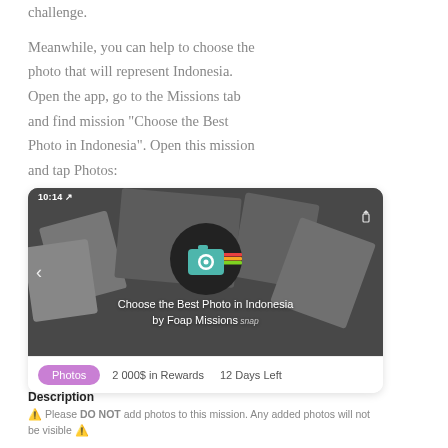challenge.

Meanwhile, you can help to choose the photo that will represent Indonesia. Open the app, go to the Missions tab and find mission "Choose the Best Photo in Indonesia". Open this mission and tap Photos:
[Figure (screenshot): Mobile app screenshot showing the 'Choose the Best Photo in Indonesia by Foap Missions' mission page with camera icon, Photos button highlighted in purple, 2 000$ in Rewards, 12 Days Left]
Description
⚠ Please DO NOT add photos to this mission. Any added photos will not be visible ⚠